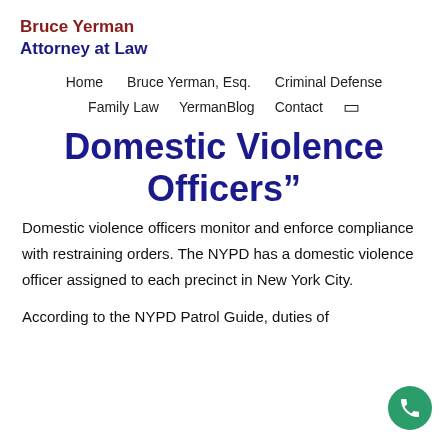Bruce Yerman Attorney at Law
Home   Bruce Yerman, Esq.   Criminal Defense   Family Law   YermanBlog   Contact
Domestic Violence Officers”
Domestic violence officers monitor and enforce compliance with restraining orders. The NYPD has a domestic violence officer assigned to each precinct in New York City.
According to the NYPD Patrol Guide, duties of